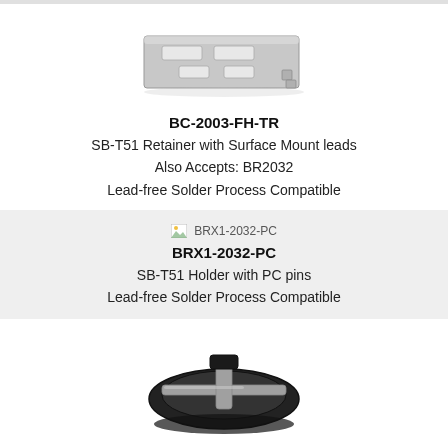[Figure (photo): Silver metallic BC-2003-FH-TR battery retainer bracket with surface mount leads]
BC-2003-FH-TR
SB-T51 Retainer with Surface Mount leads
Also Accepts: BR2032
Lead-free Solder Process Compatible
[Figure (other): Broken image placeholder labeled BRX1-2032-PC]
BRX1-2032-PC
SB-T51 Holder with PC pins
Lead-free Solder Process Compatible
[Figure (photo): Black plastic SB-T51 coin cell battery holder with PC pins, partially visible at bottom of page]